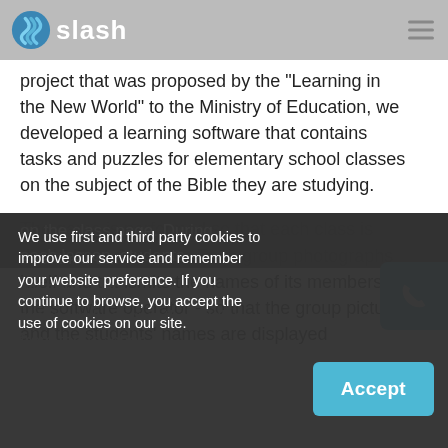slash
project that was proposed by the "Learning in the New World" to the Ministry of Education, we developed a learning software that contains tasks and puzzles for elementary school classes on the subject of the Bible they are studying.
The game is performed so that each class is divided into 6 groups. Each group photographs itself and transmits the names of its members to the software operator - so that the group picture and the students' names are displayed on the class page. During each lesson, students ... of their d... wn cod... The groups will receive the riddles from the teacher
We use first and third party cookies to improve our service and remember your website preference. If you continue to browse, you accept the use of cookies on our site.